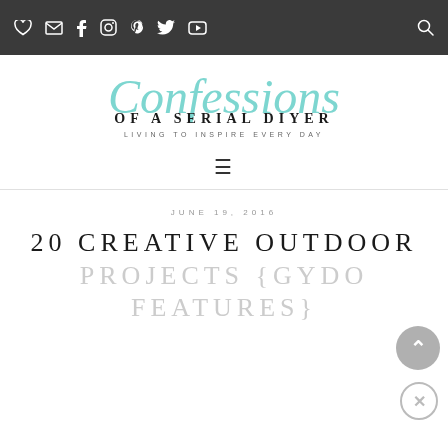[Navigation bar with icons: heart, email, facebook, instagram, pinterest, twitter, youtube, and search]
[Figure (logo): Confessions of a Serial DIYer blog logo — cursive teal script 'Confessions' above 'OF A SERIAL DIYER' in bold serif uppercase, with tagline 'LIVING TO INSPIRE EVERY DAY' below]
≡ (hamburger menu icon)
JUNE 19, 2016
20 CREATIVE OUTDOOR PROJECTS {GYDO FEATURES}